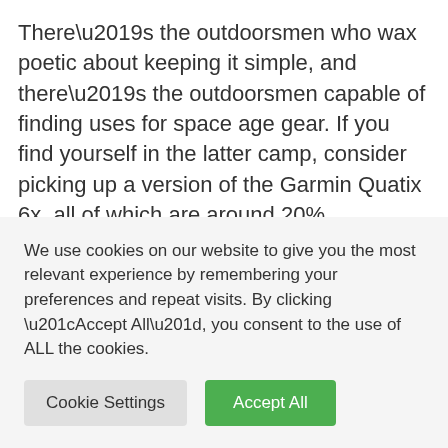There's the outdoorsmen who wax poetic about keeping it simple, and there's the outdoorsmen capable of finding uses for space age gear. If you find yourself in the latter camp, consider picking up a version of the Garmin Quatix 6x, all of which are around 20% discounted. The solar version will give you extra weeks of battery life, but other than that, the models are substantially the same. Essentially, when connected to your chartplotter, you're taking everything and putting it on your wrist. Check
We use cookies on our website to give you the most relevant experience by remembering your preferences and repeat visits. By clicking “Accept All”, you consent to the use of ALL the cookies.